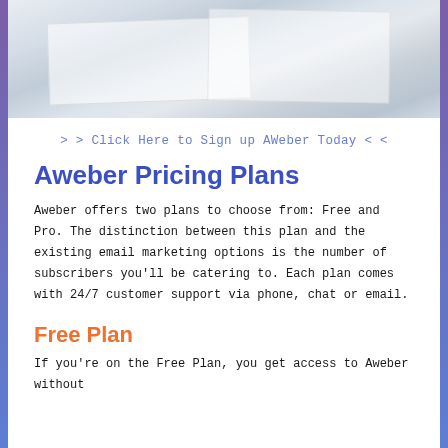[Figure (photo): Photo of a desk scene with notebooks, papers, and a laptop, viewed from above at an angle, with light background colors.]
> > Click Here to Sign up AWeber Today < <
Aweber Pricing Plans
Aweber offers two plans to choose from: Free and Pro. The distinction between this plan and the existing email marketing options is the number of subscribers you'll be catering to. Each plan comes with 24/7 customer support via phone, chat or email.
Free Plan
If you're on the Free Plan, you get access to Aweber without